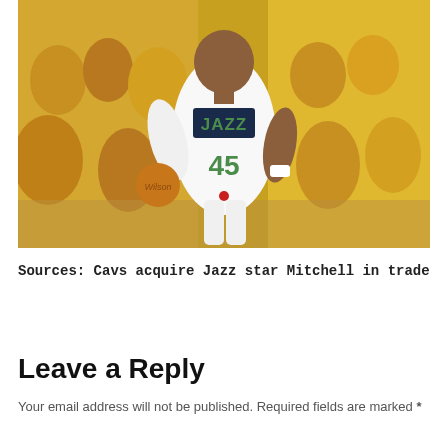[Figure (photo): Basketball player wearing Utah Jazz #45 jersey dribbling a ball, surrounded by yellow-clad fans in the arena background]
Sources: Cavs acquire Jazz star Mitchell in trade
Leave a Reply
Your email address will not be published. Required fields are marked *